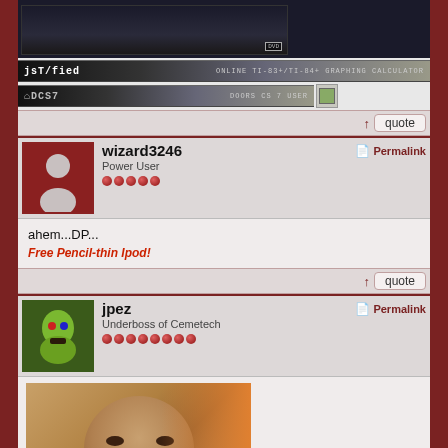[Figure (screenshot): Top partial image of dark scene, DVD label visible]
[Figure (screenshot): jsTified banner - ONLINE TI-83+/TI-84+ GRAPHING CALCULATOR]
[Figure (screenshot): DCS7 banner - DOORS CS 7 USER]
↑ quote
wizard3246
Power User
Permalink
ahem...DP...
Free Pencil-thin Ipod!
↑ quote
jpez
Underboss of Cemetech
Permalink
[Figure (photo): Photo of a person's face, close-up]